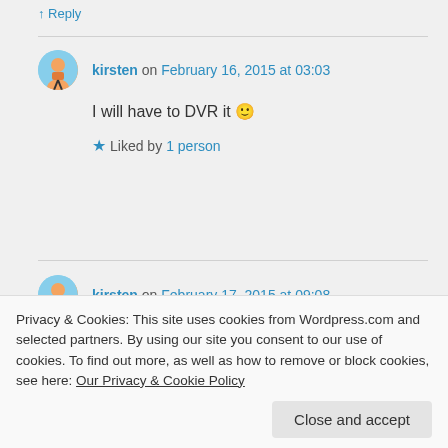↑ Reply
kirsten on February 16, 2015 at 03:03
I will have to DVR it 🙂
Liked by 1 person
kirsten on February 17, 2015 at 09:08
Hey June, I just finished watching
the other house, but the bedrooms
Privacy & Cookies: This site uses cookies from Wordpress.com and selected partners. By using our site you consent to our use of cookies. To find out more, as well as how to remove or block cookies, see here: Our Privacy & Cookie Policy
Close and accept